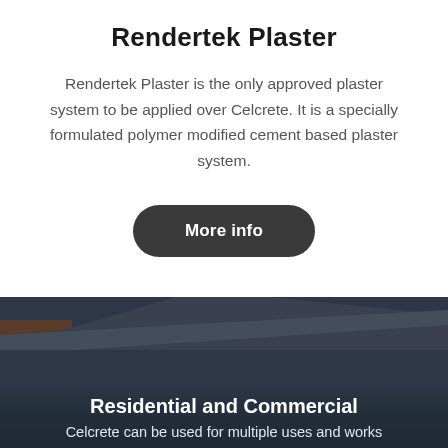Rendertek Plaster
Rendertek Plaster is the only approved plaster system to be applied over Celcrete. It is a specially formulated polymer modified cement based plaster system.
[Figure (other): A dark rounded rectangular button labelled 'More info']
[Figure (photo): Dark blue-grey background section showing a residential/commercial building with a metal roof, partially visible at the bottom of the page]
Residential and Commercial
Celcrete can be used for multiple uses and works